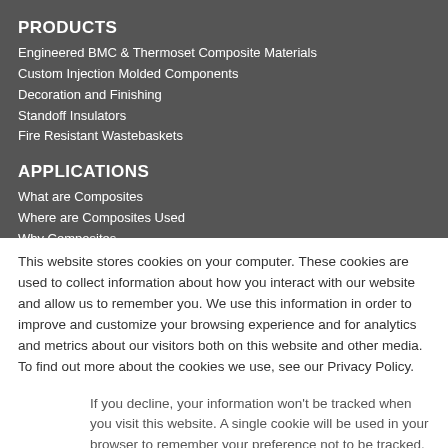PRODUCTS
Engineered BMC & Thermoset Composite Materials
Custom Injection Molded Components
Decoration and Finishing
Standoff Insulators
Fire Resistant Wastebaskets
APPLICATIONS
What are Composites
Where are Composites Used
Why Composites
This website stores cookies on your computer. These cookies are used to collect information about how you interact with our website and allow us to remember you. We use this information in order to improve and customize your browsing experience and for analytics and metrics about our visitors both on this website and other media. To find out more about the cookies we use, see our Privacy Policy.
If you decline, your information won’t be tracked when you visit this website. A single cookie will be used in your browser to remember your preference not to be tracked.